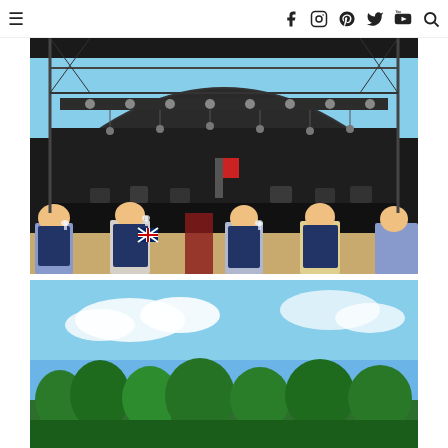Navigation bar with hamburger menu, social icons (Facebook, Instagram, Pinterest, Twitter, YouTube), and search icon
[Figure (photo): Outdoor concert stage with dome-shaped roof, lighting rigs, and an orchestra set up on stage. In the foreground, a group of people sitting in folding camping chairs, holding glasses of wine, with a Union Jack flag visible. Audience enjoying a summer outdoor classical music event.]
[Figure (photo): Partial view of a second photo showing blue sky with clouds and some green trees at the bottom, likely from the same outdoor event venue.]